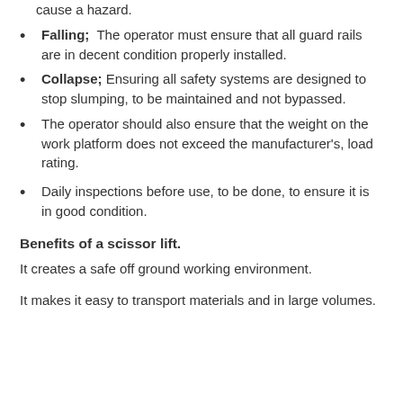cause a hazard.
Falling; The operator must ensure that all guard rails are in decent condition properly installed.
Collapse; Ensuring all safety systems are designed to stop slumping, to be maintained and not bypassed.
The operator should also ensure that the weight on the work platform does not exceed the manufacturer's, load rating.
Daily inspections before use, to be done, to ensure it is in good condition.
Benefits of a scissor lift.
It creates a safe off ground working environment.
It makes it easy to transport materials and in large volumes.